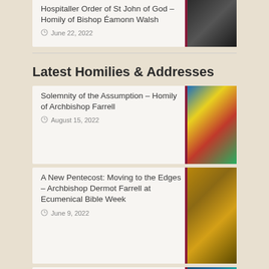Hospitaller Order of St John of God – Homily of Bishop Éamonn Walsh — June 22, 2022
Latest Homilies & Addresses
Solemnity of the Assumption – Homily of Archbishop Farrell — August 15, 2022
A New Pentecost: Moving to the Edges – Archbishop Dermot Farrell at Ecumenical Bible Week — June 9, 2022
Feast of St Kevin